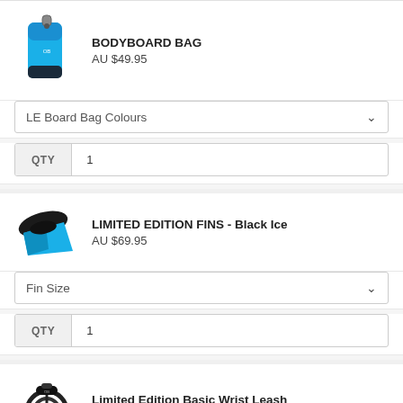[Figure (illustration): Blue and black bodyboard bag product image]
BODYBOARD BAG
AU $49.95
LE Board Bag Colours (dropdown)
QTY  1
[Figure (illustration): Black and cyan bodyboard fin (Limited Edition Black Ice) product image]
LIMITED EDITION FINS - Black Ice
AU $69.95
Fin Size (dropdown)
QTY  1
[Figure (illustration): Black coiled wrist leash product image]
Limited Edition Basic Wrist Leash
AU $22.95